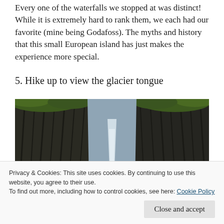Every one of the waterfalls we stopped at was distinct! While it is extremely hard to rank them, we each had our favorite (mine being Godafoss). The myths and history that this small European island has just makes the experience more special.
5. Hike up to view the glacier tongue
[Figure (photo): A dramatic photo of a waterfall cascading down between tall dark basalt rock columns covered with green moss and grass, viewed from below looking up, with a pale sky above.]
Privacy & Cookies: This site uses cookies. By continuing to use this website, you agree to their use.
To find out more, including how to control cookies, see here: Cookie Policy